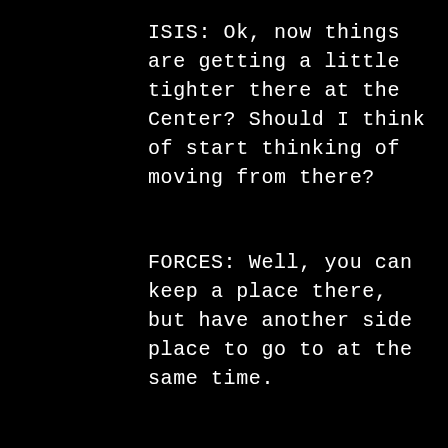ISIS: Ok, now things are getting a little tighter there at the Center? Should I think of start thinking of moving from there?
FORCES: Well, you can keep a place there, but have another side place to go to at the same time.